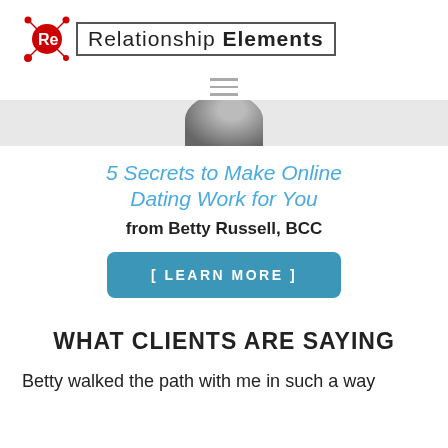[Figure (logo): Relationship Elements logo with red 'Re' atom icon and bordered text 'RELATIONSHIP ELEMENTS']
[Figure (other): Hamburger menu icon (three horizontal lines)]
[Figure (photo): Partial circular photo of a person, cropped at top]
5 Secrets to Make Online Dating Work for You
from Betty Russell, BCC
[ LEARN MORE ]
WHAT CLIENTS ARE SAYING
Betty walked the path with me in such a way